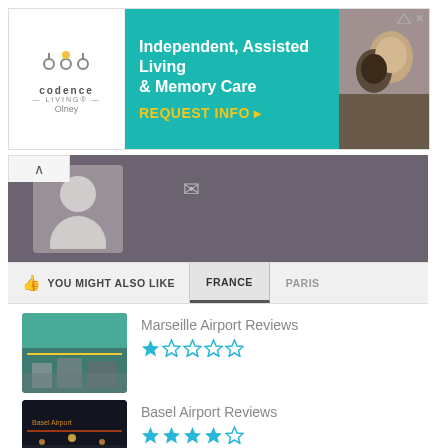[Figure (screenshot): Advertisement banner for Codence Living - Independent, Assisted Living & Memory Care with 'REQUEST INFO' call to action]
[Figure (screenshot): User profile area with grey background, avatar placeholder, and envelope icon]
[Figure (screenshot): Navigation tabs showing 'YOU MIGHT ALSO LIKE', 'FRANCE', and 'PARIS']
Marseille Airport Reviews
[Figure (other): 1 out of 5 stars rating for Marseille Airport]
Basel Airport Reviews
[Figure (other): 4 out of 5 stars rating for Basel Airport]
Nice Cote d Azur Airport Reviews
[Figure (other): 0 out of 5 stars rating for Nice Cote d Azur Airport]